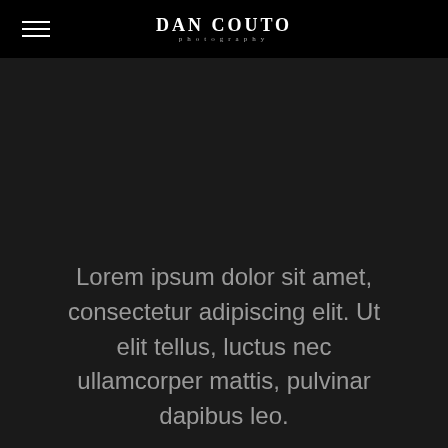Dan Couto photography
Lorem ipsum dolor sit amet, consectetur adipiscing elit. Ut elit tellus, luctus nec ullamcorper mattis, pulvinar dapibus leo.